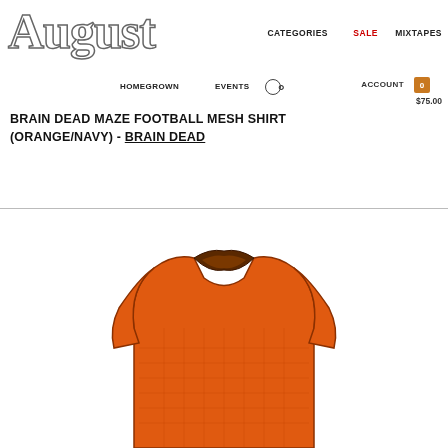August — CATEGORIES  SALE  MIXTAPES
HOMEGROWN  EVENTS  ACCOUNT  0  $75.00
BRAIN DEAD MAZE FOOTBALL MESH SHIRT (ORANGE/NAVY) - BRAIN DEAD
[Figure (photo): Orange and navy football mesh shirt by Brain Dead, shown from above with collar visible, product photo on white background]